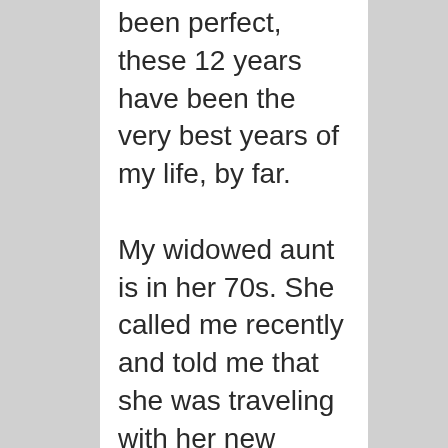been perfect, these 12 years have been the very best years of my life, by far.

My widowed aunt is in her 70s. She called me recently and told me that she was traveling with her new boyfriend. “Only he isn't a boy, he's my age, and he is much more than just a firend," she said. They met on an online dating site. I think she said the site she